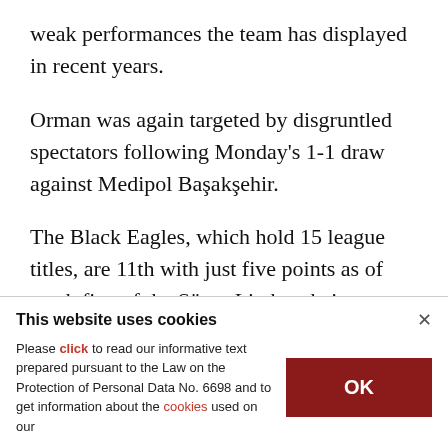weak performances the team has displayed in recent years.
Orman was again targeted by disgruntled spectators following Monday's 1-1 draw against Medipol Başakşehir.
The Black Eagles, which hold 15 league titles, are 11th with just five points as of week five of the Süper Lig but their worst performance was against Başakşehir.
This website uses cookies
Please click to read our informative text prepared pursuant to the Law on the Protection of Personal Data No. 6698 and to get information about the cookies used on our